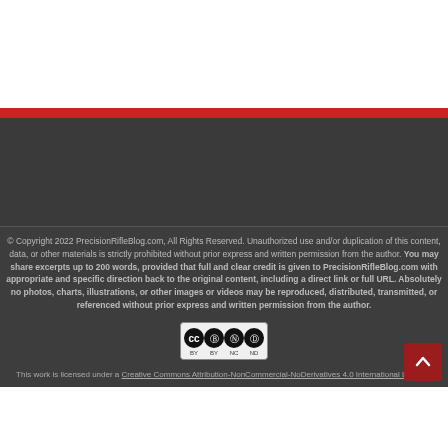© Copyright 2022 PrecisionRifleBlog.com, All Rights Reserved. Unauthorized use and/or duplication of this content, data, or other materials is strictly prohibited without prior express and written permission from the author. You may share excerpts up to 200 words, provided that full and clear credit is given to PrecisionRifleBlog.com with appropriate and specific direction back to the original content, including a direct link or full URL. Absolutely no photos, charts, illustrations, or other images or videos may be reproduced, distributed, transmitted, or referenced without prior express and written permission from the author.
[Figure (logo): Creative Commons BY NC ND license icon badge]
This work is licensed under a Creative Commons Attribution-NonCommercial-NoDerivatives 4.0 International License.